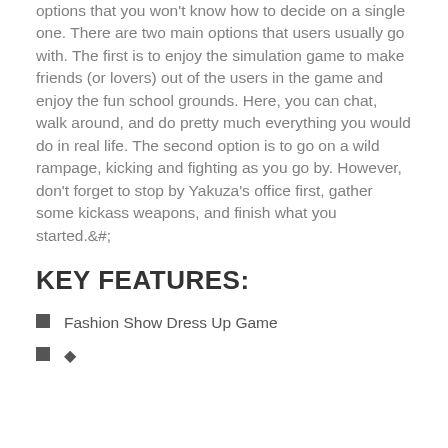storyline because it features so many gameplay options that you won't know how to decide on a single one. There are two main options that users usually go with. The first is to enjoy the simulation game to make friends (or lovers) out of the users in the game and enjoy the fun school grounds. Here, you can chat, walk around, and do pretty much everything you would do in real life. The second option is to go on a wild rampage, kicking and fighting as you go by. However, don't forget to stop by Yakuza's office first, gather some kickass weapons, and finish what you started.&#;
KEY FEATURES:
Fashion Show Dress Up Game
◆